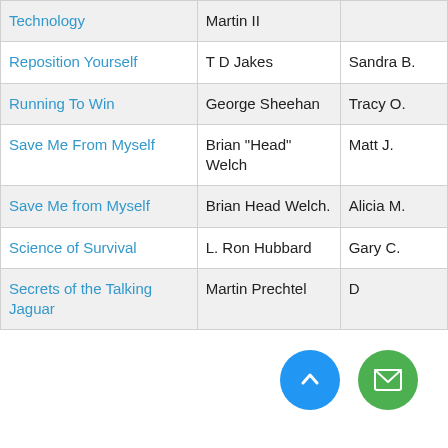| [Title] | [Author] | [Reviewer] |
| --- | --- | --- |
| ...Relationship Technology | Martin II |  |
| Reposition Yourself | T D Jakes | Sandra B. |
| Running To Win | George Sheehan | Tracy O. |
| Save Me From Myself | Brian "Head" Welch | Matt J. |
| Save Me from Myself | Brian Head Welch. | Alicia M. |
| Science of Survival | L. Ron Hubbard | Gary C. |
| Secrets of the Talking Jaguar | Martin Prechtel | D... |